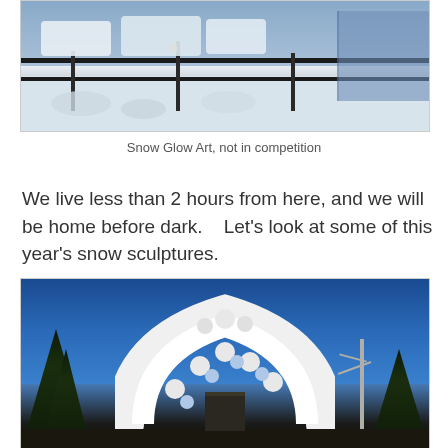[Figure (photo): Outdoor winter scene showing snow-covered ground with large snow rolls/cylinders in the background, black metal fence railing in the foreground, and a small yellow duck figure on one of the fence posts. Blue fencing and structures visible in the background on the right side.]
Snow Glow Art, not in competition
We live less than 2 hours from here, and we will be home before dark.   Let's look at some of this year's snow sculptures.
[Figure (photo): A large white snow sculpture in the shape of an arch made of interlocking puzzle pieces, set against a vivid blue sky. Dark evergreen trees are visible on the left side and bare tree branches visible on the right. Buildings visible in the lower background.]